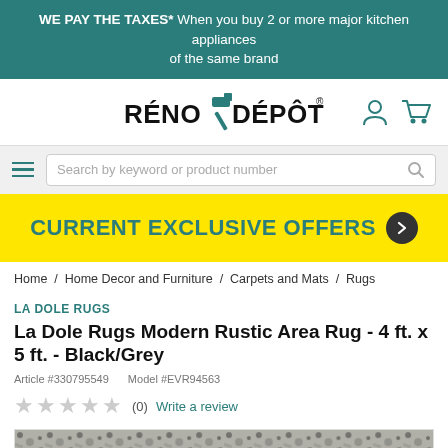WE PAY THE TAXES* When you buy 2 or more major kitchen appliances of the same brand
[Figure (logo): Réno-Dépôt logo with hammer icon, user account icon, and shopping cart icon]
Search by keyword or product number
CURRENT EXCLUSIVE OFFERS
Home / Home Decor and Furniture / Carpets and Mats / Rugs
LA DOLE RUGS
La Dole Rugs Modern Rustic Area Rug - 4 ft. x 5 ft. - Black/Grey
Article #330795549   Model #EVR94563
★★★★★ (0) Write a review
[Figure (photo): Partial view of a black and grey rustic area rug texture]